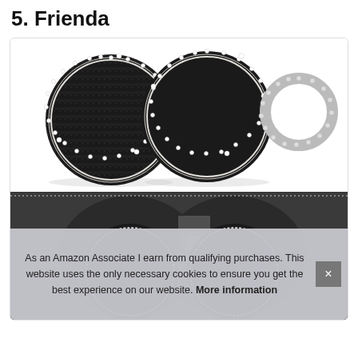5. Frienda
[Figure (photo): Product photo showing two black circular car cup holder coaster pads with rhinestone/crystal borders, and a silver rhinestone ring, displayed on white background. Below is a photo of the coasters installed in a car's cup holder area.]
As an Amazon Associate I earn from qualifying purchases. This website uses the only necessary cookies to ensure you get the best experience on our website. More information